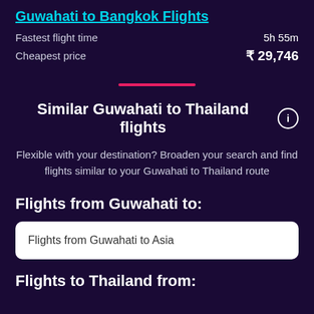Guwahati to Bangkok Flights
Fastest flight time    5h 55m
Cheapest price    ₹ 29,746
Similar Guwahati to Thailand flights
Flexible with your destination? Broaden your search and find flights similar to your Guwahati to Thailand route
Flights from Guwahati to:
Flights from Guwahati to Asia
Flights to Thailand from: